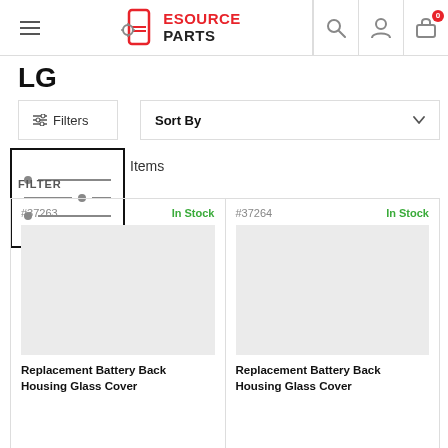[Figure (screenshot): ESource Parts website header with logo, hamburger menu, search icon, user icon, and cart icon with badge showing 0]
LG
[Figure (screenshot): Filter and Sort By toolbar with filter icon popup overlay showing sliders icon]
Items
FILTER
[Figure (screenshot): Product listing grid showing two products: #37263 In Stock - Replacement Battery Back Housing Glass Cover, and #37264 In Stock - Replacement Battery Back Housing Glass Cover]